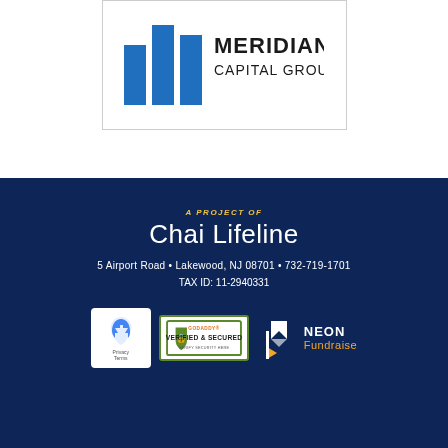[Figure (logo): Meridian Capital Group logo with blue bar chart icon and company name in black text]
A PROJECT OF
Chai Lifeline
5 Airport Road • Lakewood, NJ 08701 • 732-719-1701
TAX ID: 11-2940331
[Figure (logo): reCAPTCHA Privacy Terms badge]
[Figure (logo): GoDaddy Verified & Secured badge]
[Figure (logo): Neon Fundraise logo]